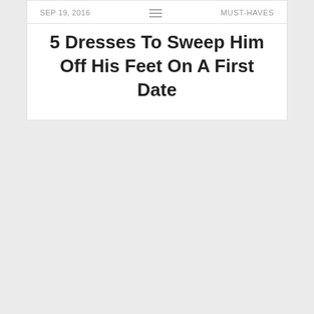SEP 19, 2016   MUST-HAVES
5 Dresses To Sweep Him Off His Feet On A First Date